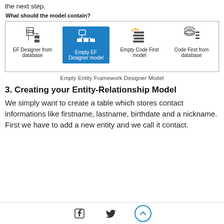the next step.
[Figure (screenshot): Dialog box showing 'What should the model contain?' with four options: EF Designer from database, Empty EF Designer model (selected/highlighted in blue), Empty Code First model, Code First from database]
Empty Entity Framework Designer Model
3. Creating your Entity-Relationship Model
We simply want to create a table which stores contact informations like firstname, lastname, birthdate and a nickname. First we have to add a new entity and we call it contact.